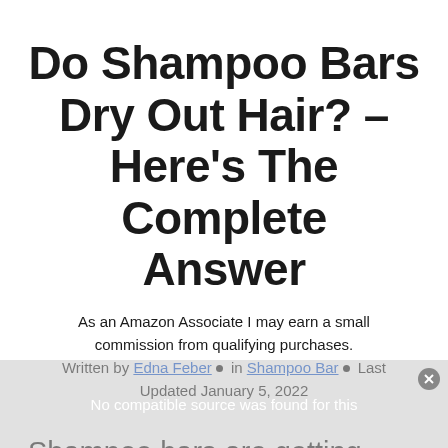Do Shampoo Bars Dry Out Hair? – Here's The Complete Answer
As an Amazon Associate I may earn a small commission from qualifying purchases. Written by Edna Feber • in Shampoo Bar • Last Updated January 5, 2022
Shampoo bars are getting more and more popular recently for numerous